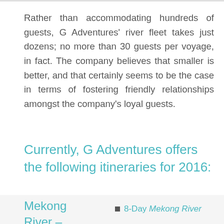Rather than accommodating hundreds of guests, G Adventures' river fleet takes just dozens; no more than 30 guests per voyage, in fact. The company believes that smaller is better, and that certainly seems to be the case in terms of fostering friendly relationships amongst the company's loyal guests.
Currently, G Adventures offers the following itineraries for 2016:
Mekong River –
8-Day Mekong River